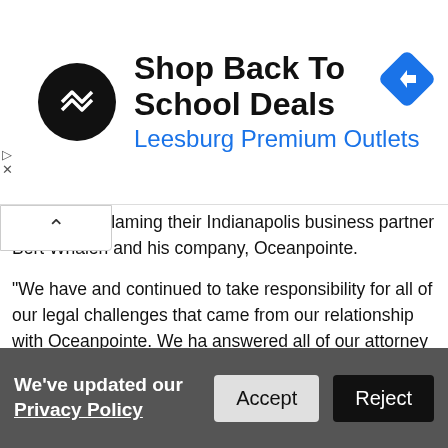[Figure (screenshot): Advertisement banner for 'Shop Back To School Deals – Leesburg Premium Outlets' with circular logo and blue navigation icon]
es, instead blaming their Indianapolis business partner Bert Whalen and his company, Oceanpointe.
"We have and continued to take responsibility for all of our legal challenges that came from our relationship with Oceanpointe. We have answered all of our attorney general requests in all states. We have answered all lawsuits," Natali Morris said.
"We have not run from anything," she added. "We continue to show for this until the last lawsuit is dismissed and it is clear that we neither had the money from Oceanpointe investors nor did we defraud anyone."
We've updated our Privacy Policy   Accept   Reject